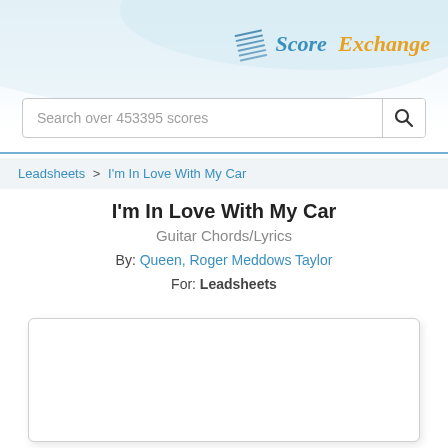[Figure (logo): Score Exchange logo with musical score icon, 'Score' in blue italic and 'Exchange' in orange italic]
Search over 453395 scores
Leadsheets > I'm In Love With My Car
I'm In Love With My Car
Guitar Chords/Lyrics
By: Queen, Roger Meddows Taylor
For: Leadsheets
[Figure (other): Empty white sheet music preview area with rounded border and drop shadow]